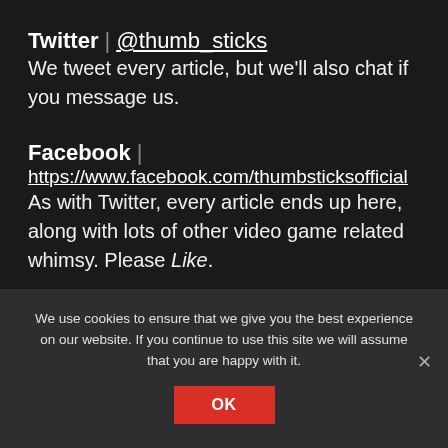Twitter | @thumb_sticks
We tweet every article, but we'll also chat if you message us.
Facebook | https://www.facebook.com/thumbsticksofficial
As with Twitter, every article ends up here, along with lots of other video game related whimsy. Please Like.
Newsletter | https://eepurl.com/Civdh
We use cookies to ensure that we give you the best experience on our website. If you continue to use this site we will assume that you are happy with it.